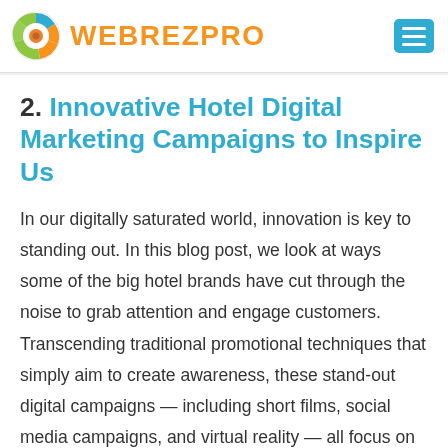WEBREZPRO
2. Innovative Hotel Digital Marketing Campaigns to Inspire Us
In our digitally saturated world, innovation is key to standing out. In this blog post, we look at ways some of the big hotel brands have cut through the noise to grab attention and engage customers. Transcending traditional promotional techniques that simply aim to create awareness, these stand-out digital campaigns — including short films, social media campaigns, and virtual reality — all focus on